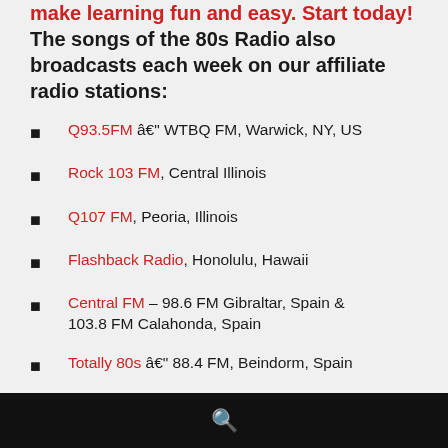of the 80s Radio also broadcasts each week on our affiliate radio stations:
Q93.5FM – WTBQ FM, Warwick, NY, US
Rock 103 FM, Central Illinois
Q107 FM, Peoria, Illinois
Flashback Radio, Honolulu, Hawaii
Central FM – 98.6 FM Gibraltar, Spain & 103.8 FM Calahonda, Spain
Totally 80s – 88.4 FM, Beindorm, Spain
Surf FM – 87.6 FM, Melbourne, AUS
Radio 80s – 97.6 FM, K..., AUS